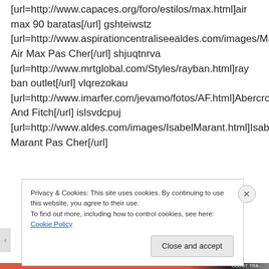[url=http://www.capaces.org/foro/estilos/max.html]air max 90 baratas[/url] gshteiwstz [url=http://www.aspirationcentraliseealdes.com/images/Max.html]Nike Air Max Pas Cher[/url] shjuqtnrva [url=http://www.mrtglobal.com/Styles/rayban.html]ray ban outlet[/url] vlqrezokau [url=http://www.imarfer.com/jevamo/fotos/AF.html]Abercrombie And Fitch[/url] islsvdcpuj [url=http://www.aldes.com/images/IsabelMarant.html]Isabel Marant Pas Cher[/url]
Privacy & Cookies: This site uses cookies. By continuing to use this website, you agree to their use.
To find out more, including how to control cookies, see here: Cookie Policy